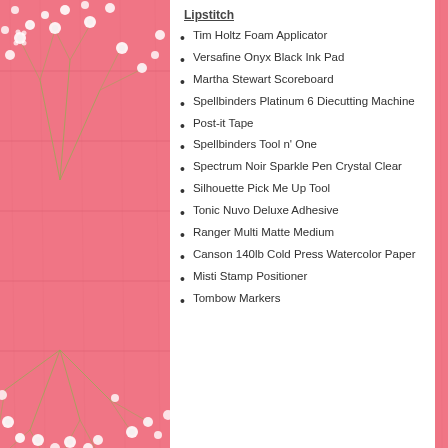[Figure (photo): Pink wooden background with white baby's breath flowers on the left side]
Lipstitch
Tim Holtz Foam Applicator
Versafine Onyx Black Ink Pad
Martha Stewart Scoreboard
Spellbinders Platinum 6 Diecutting Machine
Post-it Tape
Spellbinders Tool n' One
Spectrum Noir Sparkle Pen Crystal Clear
Silhouette Pick Me Up Tool
Tonic Nuvo Deluxe Adhesive
Ranger Multi Matte Medium
Canson 140lb Cold Press Watercolor Paper
Misti Stamp Positioner
Tombow Markers